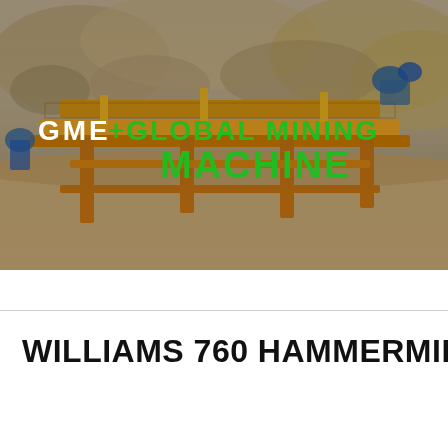[Figure (photo): Mining equipment site photo showing yellow conveyor/screening machinery with rocky terrain and earth in background. Overlaid with company logo text: GME +GLOBAL MINING MACHINE.]
WILLIAMS 760 HAMMERMILL